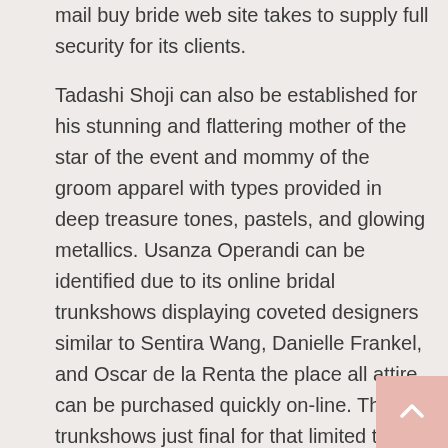mail buy bride web site takes to supply full security for its clients. Tadashi Shoji can also be established for his stunning and flattering mother of the star of the event and mommy of the groom apparel with types provided in deep treasure tones, pastels, and glowing metallics. Usanza Operandi can be identified due to its online bridal trunkshows displaying coveted designers similar to Sentira Wang, Danielle Frankel, and Oscar de la Renta the place all attire can be purchased quickly on-line. These trunkshows just final for that limited time so examine the location regularly. Moda Operandi has us swooning over their very curated on the net bridal modify of extremely-luxe models. From obvious